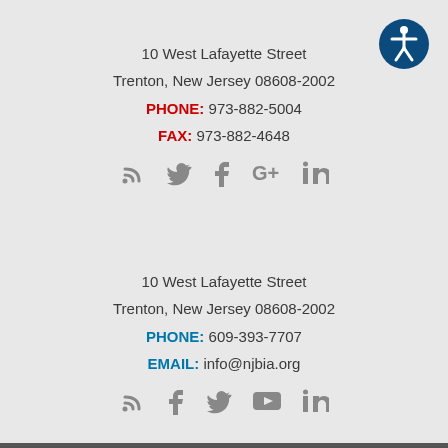[Figure (logo): Accessibility icon: dark blue circle with white stick figure person in wheelchair/accessibility symbol]
10 West Lafayette Street
Trenton, New Jersey 08608-2002
PHONE: 973-882-5004
FAX: 973-882-4648
[Figure (other): Social media icons row: RSS, Twitter, Facebook, Google+, LinkedIn (gray)]
10 West Lafayette Street
Trenton, New Jersey 08608-2002
PHONE: 609-393-7707
EMAIL: info@njbia.org
[Figure (other): Social media icons row: RSS, Facebook, Twitter, YouTube, LinkedIn (gray)]